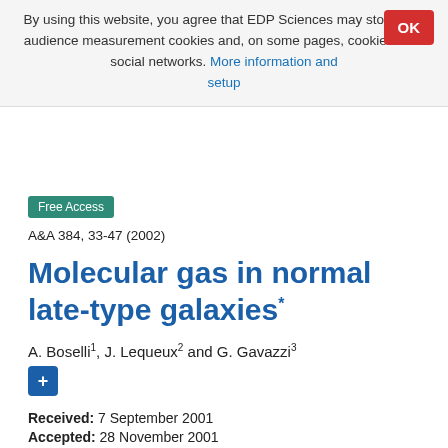By using this website, you agree that EDP Sciences may store web audience measurement cookies and, on some pages, cookies from social networks. More information and setup
OK
Free Access
A&A 384, 33-47 (2002)
Molecular gas in normal late-type galaxies*
A. Boselli1, J. Lequeux2 and G. Gavazzi3
Received: 7 September 2001
Accepted: 28 November 2001
Abstract
We present 12CO (J=1) observations of 334